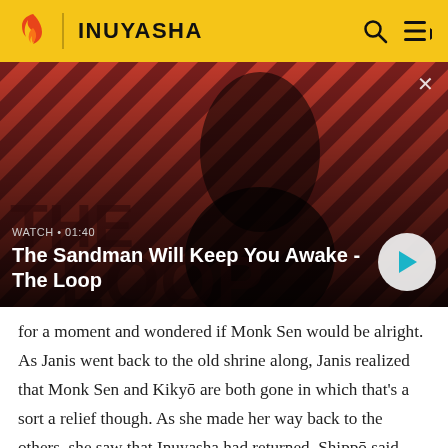INUYASHA
[Figure (screenshot): Video thumbnail showing a dark-haired person in black clothing with a raven on shoulder, against red and dark diagonal striped background. The Loop. Watch • 01:40. Title: The Sandman Will Keep You Awake - The Loop]
for a moment and wondered if Monk Sen would be alright. As Janis went back to the old shrine along, Janis realized that Monk Sen and Kikyō are both gone in which that's a sort a relief though. As she made her way back to the others, she saw that Inuyasha had returned, Shippō said